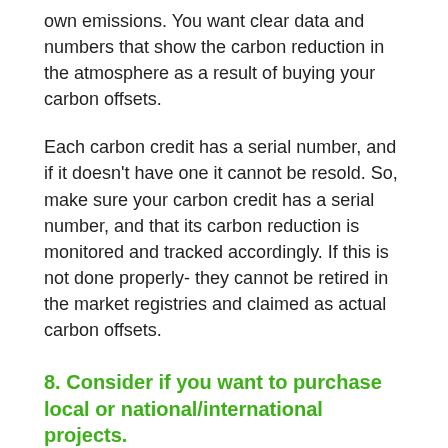own emissions. You want clear data and numbers that show the carbon reduction in the atmosphere as a result of buying your carbon offsets.
Each carbon credit has a serial number, and if it doesn't have one it cannot be resold. So, make sure your carbon credit has a serial number, and that its carbon reduction is monitored and tracked accordingly. If this is not done properly- they cannot be retired in the market registries and claimed as actual carbon offsets.
8. Consider if you want to purchase local or national/international projects.
When it comes to carbon offsetting projects, you have local as well as national or international projects. Most